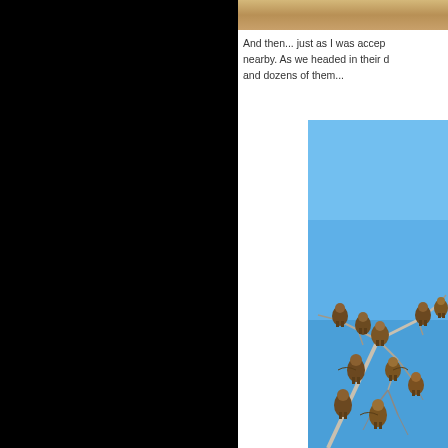[Figure (photo): Partial photo at top right showing dry golden/brown grassland or savanna vegetation]
And then... just as I was accep nearby. As we headed in their d and dozens of them...
[Figure (photo): Photo of numerous vultures perched on bare tree branches against a clear blue sky]